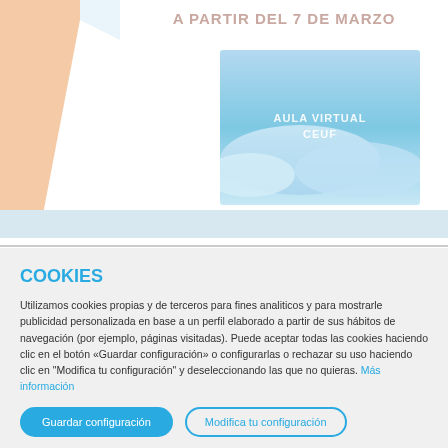A PARTIR DEL 7 DE MARZO
[Figure (illustration): Decorative peach/orange angular shape on left side]
[Figure (photo): Aula Virtual CEUF - blurry blue/teal abstract image with text overlay]
COOKIES
Utilizamos cookies propias y de terceros para fines analiticos y para mostrarle publicidad personalizada en base a un perfil elaborado a partir de sus hábitos de navegación (por ejemplo, páginas visitadas). Puede aceptar todas las cookies haciendo clic en el botón «Guardar configuración» o configurarlas o rechazar su uso haciendo clic en "Modifica tu configuración" y deseleccionando las que no quieras. Más información
Guardar configuración
Modifica tu configuración